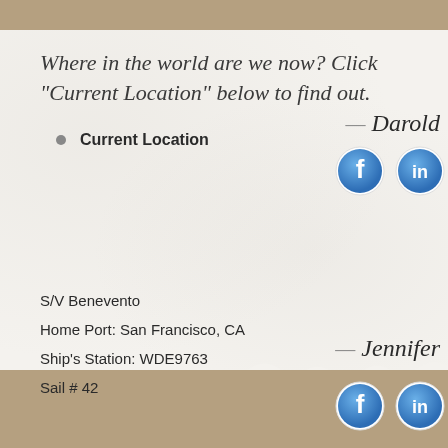Where in the world are we now? Click “Current Location” below to find out.
Current Location
S/V Benevento
Home Port: San Francisco, CA
Ship's Station: WDE9763
Sail # 42
Darold
[Figure (illustration): Facebook and LinkedIn social media circular icon buttons for Darold]
Jennifer
[Figure (illustration): Facebook and LinkedIn social media circular icon buttons for Jennifer]